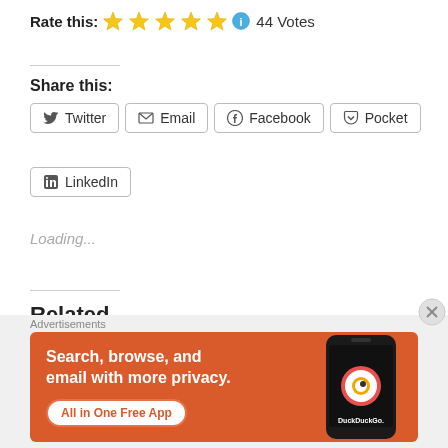Rate this: ★★★★★ ℹ 44 Votes
Share this:
Twitter | Email | Facebook | Pocket | LinkedIn
Loading...
Related
[Figure (screenshot): Advertisement banner for DuckDuckGo: Search, browse, and email with more privacy. All in One Free App]
Advertisements